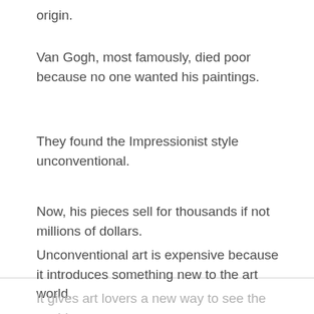origin.
Van Gogh, most famously, died poor because no one wanted his paintings.
They found the Impressionist style unconventional.
Now, his pieces sell for thousands if not millions of dollars.
Unconventional art is expensive because it introduces something new to the art world.
It gives art lovers a new way to see the world